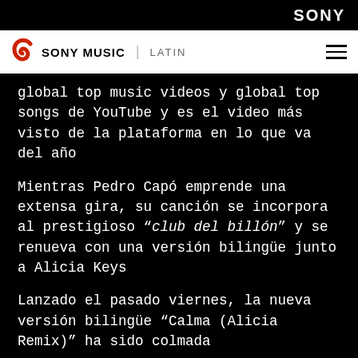SONY
[Figure (logo): Sony Music Latin logo with red swirl icon, brand name SONY MUSIC and LATIN text, plus hamburger menu icon]
global top music videos y global top songs de YouTube y es el video más visto de la plataforma en lo que va del año
Mientras Pedro Capó emprende una extensa gira, su canción se incorpora al prestigioso “club del billón” y se renueva con una versión bilingüe junto a Alicia Keys
Lanzado el pasado viernes, la nueva versión bilingüe “Calma (Alicia Remix)” ha sido colmada...